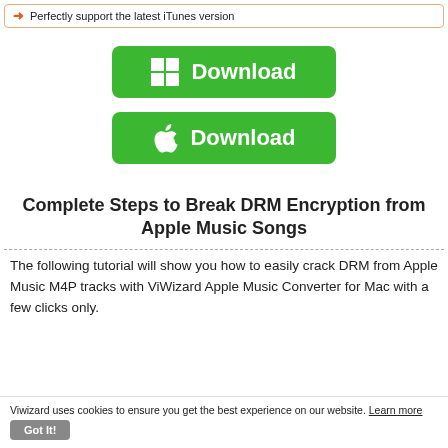Perfectly support the latest iTunes version
[Figure (other): Green Download button with Windows logo icon]
[Figure (other): Green Download button with Apple logo icon]
Complete Steps to Break DRM Encryption from Apple Music Songs
The following tutorial will show you how to easily crack DRM from Apple Music M4P tracks with ViWizard Apple Music Converter for Mac with a few clicks only.
Viwizard uses cookies to ensure you get the best experience on our website. Learn more Got It!